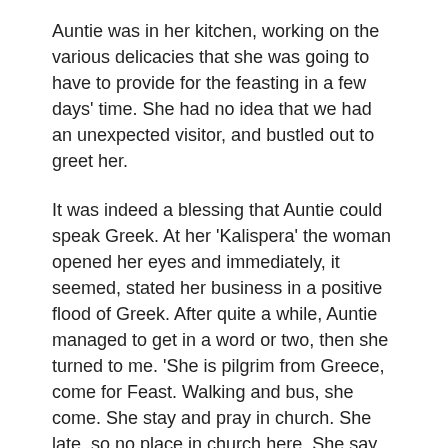Auntie was in her kitchen, working on the various delicacies that she was going to have to provide for the feasting in a few days' time. She had no idea that we had an unexpected visitor, and bustled out to greet her.
It was indeed a blessing that Auntie could speak Greek. At her 'Kalispera' the woman opened her eyes and immediately, it seemed, stated her business in a positive flood of Greek. After quite a while, Auntie managed to get in a word or two, then she turned to me. 'She is pilgrim from Greece, come for Feast. Walking and bus, she come. She stay and pray in church. She late, so no place in church here. She say stay and pray here tonight, tomorrow night, then go.'
I was very impressed that this pilgrim had come all by herself to Jerusalem by bus and on foot through several countries, but not so impressed that she was planning to stay the night on my doorstep, particularly as I would have to disturb her every time I needed to go to my kitchen or